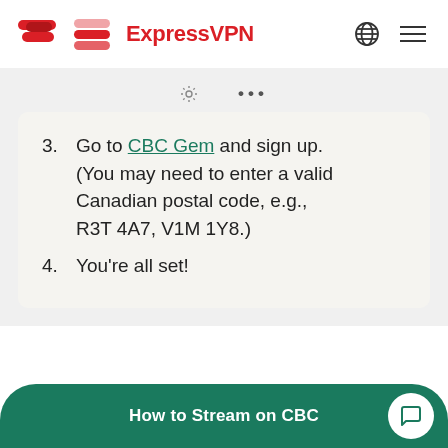ExpressVPN
3. Go to CBC Gem and sign up. (You may need to enter a valid Canadian postal code, e.g., R3T 4A7, V1M 1Y8.)
4. You're all set!
How to Stream on CBC